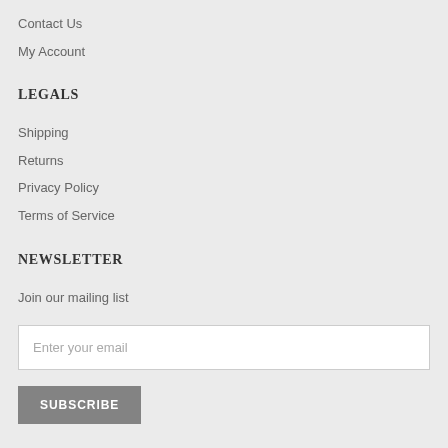Contact Us
My Account
LEGALS
Shipping
Returns
Privacy Policy
Terms of Service
NEWSLETTER
Join our mailing list
Enter your email
SUBSCRIBE